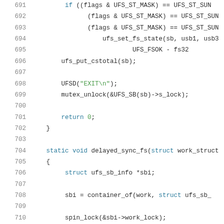Code listing lines 691-712, C source code showing ufs filesystem sync functions
691     if ((flags & UFS_ST_MASK) == UFS_ST_SUN
692         (flags & UFS_ST_MASK) == UFS_ST_SUN
693         (flags & UFS_ST_MASK) == UFS_ST_SUN
694             ufs_set_fs_state(sb, usb1, usb3
695                             UFS_FSOK - fs32
696     ufs_put_cstotal(sb);
697
698     UFSD("EXIT\n");
699     mutex_unlock(&UFS_SB(sb)->s_lock);
700
701     return 0;
702 }
703
704 static void delayed_sync_fs(struct work_struct
705 {
706     struct ufs_sb_info *sbi;
707
708     sbi = container_of(work, struct ufs_sb_
709
710     spin_lock(&sbi->work_lock);
711     sbi->work_queued = 0;
712     spin_unlock(&sbi->work_lock);